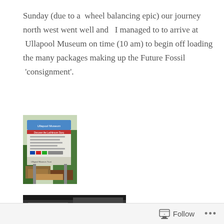Sunday (due to a  wheel balancing epic) our journey north west went well and  I managed to to arrive at  Ullapool Museum on time (10 am) to begin off loading the many packages making up the Future Fossil  'consignment'.
[Figure (photo): Photograph of the Ullapool Museum sign with boxes/packages visible in the foreground]
[Figure (photo): Partial photograph, dark image, partially visible at bottom of page]
Follow ...